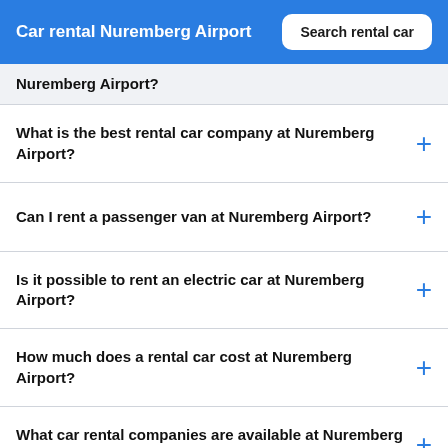Car rental Nuremberg Airport
Nuremberg Airport?
What is the best rental car company at Nuremberg Airport?
Can I rent a passenger van at Nuremberg Airport?
Is it possible to rent an electric car at Nuremberg Airport?
How much does a rental car cost at Nuremberg Airport?
What car rental companies are available at Nuremberg Airport?